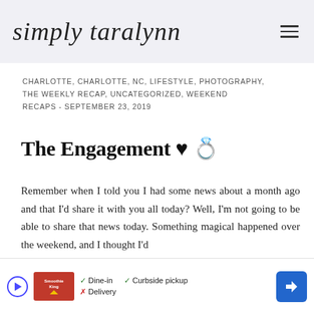simply taralynn
CHARLOTTE, CHARLOTTE, NC, LIFESTYLE, PHOTOGRAPHY, THE WEEKLY RECAP, UNCATEGORIZED, WEEKEND RECAPS - SEPTEMBER 23, 2019
The Engagement ♥ 💍
Remember when I told you I had some news about a month ago and that I'd share it with you all today? Well, I'm not going to be able to share that news today. Something magical happened over the weekend, and I thought I'd share...
[Figure (other): Advertisement banner for Smoothie King showing dine-in, curbside pickup, and delivery options with a navigation arrow icon]